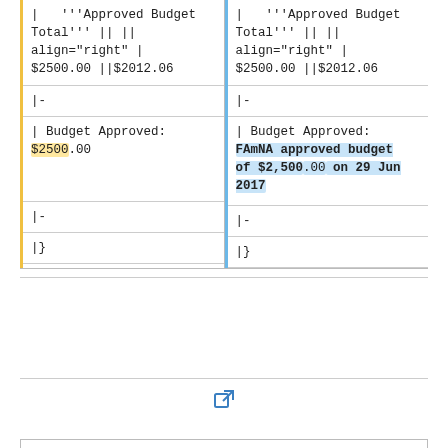| '''Approved Budget Total''' || ||
align="right" |
$2500.00 ||$2012.06
| '''Approved Budget Total''' || ||
align="right" |
$2500.00 ||$2012.06
|-
|-
| Budget Approved:
$2500.00
| Budget Approved:
FAmNA approved budget of $2,500.00 on 29 Jun 2017
|-
|-
|}
|}
[Figure (other): External link icon (small blue square with arrow)]